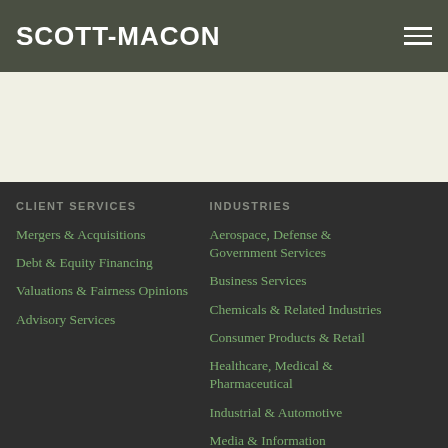SCOTT-MACON
CLIENT SERVICES
Mergers & Acquisitions
Debt & Equity Financing
Valuations & Fairness Opinions
Advisory Services
INDUSTRIES
Aerospace, Defense & Government Services
Business Services
Chemicals & Related Industries
Consumer Products & Retail
Healthcare, Medical & Pharmaceutical
Industrial & Automotive
Media & Information
Transportation & Logistics